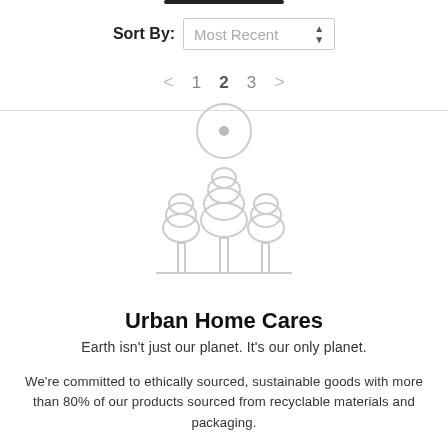Sort By: Most Recent
< 1 2 3 >
[Figure (illustration): Circle indicator (radio button style circle with dot) above a three-tree park/nature icon illustration in light gray outline style]
Urban Home Cares
Earth isn't just our planet. It's our only planet.
We're committed to ethically sourced, sustainable goods with more than 80% of our products sourced from recyclable materials and packaging.